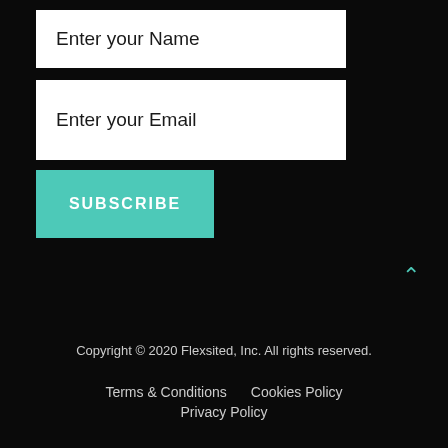Enter your Name
Enter your Email
SUBSCRIBE
Copyright © 2020 Flexsited, Inc. All rights reserved.
Terms & Conditions   Cookies Policy
Privacy Policy